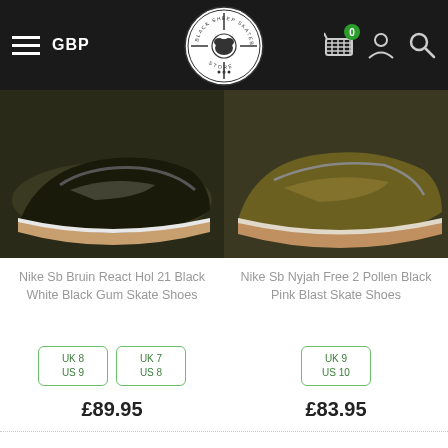[Figure (screenshot): Black Sheep Skateboard Store website header with hamburger menu, GBP currency label, circular logo, cart icon with badge showing 0, user icon, and search icon on dark background]
[Figure (photo): Nike Sb Bruin React Hol 21 Black White Black Gum Skate Shoes - product photo showing dark olive/black shoe with gum sole]
[Figure (photo): Nike Sb Nyjah Free 2 Pollen Black Pink Blast Skate Shoes - product photo showing olive/dark yellow shoe]
Nike Sb Bruin React Hol 21 Black White Black Gum Skate Shoes
Nike Sb Nyjah Free 2 Pollen Black Pink Blast Skate Shoes
UK 8 US 9
UK 7 US 8
UK 9 US 10
£89.95
£83.95